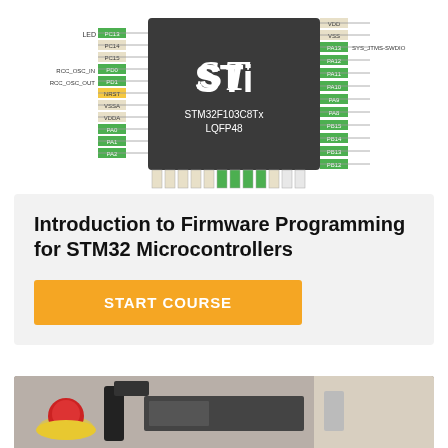[Figure (schematic): STM32F103C8Tx LQFP48 microcontroller pinout diagram showing pin labels on all four sides including VDD, VSS, LED, RCC_OSC_IN, RCC_OSC_OUT, NRST, VSSA, VDDA, PA0-PA2, PA8, PA11, PA12, PA13 SYS_JTMS-SWDIO, PA15, PB12-PB15, PC13-PC15, PD0-PD1, and bottom row pins. ST (STMicroelectronics) logo on chip.]
Introduction to Firmware Programming for STM32 Microcontrollers
[Figure (photo): Photo of industrial automation equipment showing a red emergency stop button on a yellow base, black metal clamps and rails, and beige/cream colored machine casing.]